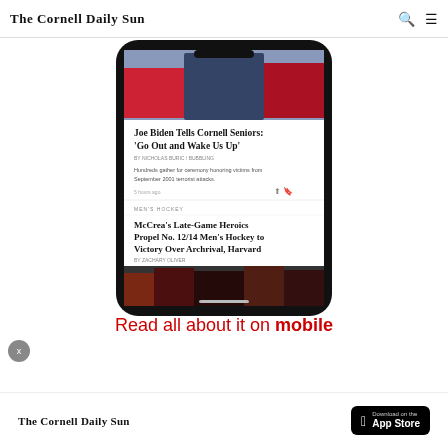The Cornell Daily Sun
[Figure (screenshot): Screenshot of The Cornell Daily Sun mobile app showing two articles: 'Joe Biden Tells Cornell Seniors: Go Out and Wake Us Up' and 'McCrea's Late-Game Heroics Propel No. 12/14 Men's Hockey to Victory Over Archrival, Harvard', displayed on a smartphone.]
Read all about it on mobile
The Cornell Daily Sun — Download on the App Store